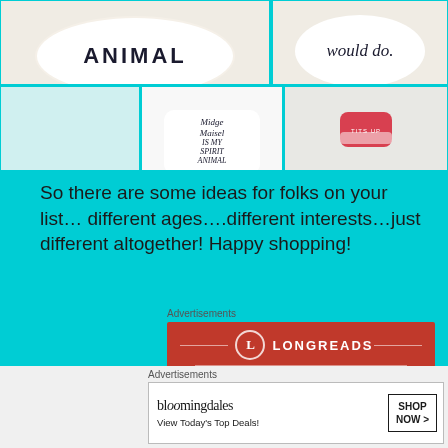[Figure (photo): Top photo grid showing two rows of product images: top row has two mugs with text, bottom row has pink foam hair rollers in a bag, a mug reading 'Midge Maisel is my spirit animal', and a small red candy/pin item]
So there are some ideas for folks on your list… different ages….different interests…just different altogether! Happy shopping!
Advertisements
[Figure (logo): Longreads advertisement banner with red background and Longreads logo]
Advertisements
[Figure (screenshot): Bloomingdales advertisement with logo text and 'View Today's Top Deals!' and 'SHOP NOW >' button]